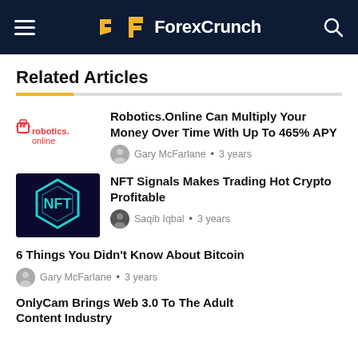ForexCrunch
Related Articles
Robotics.Online Can Multiply Your Money Over Time With Up To 465% APY — Gary McFarlane • 3 years
NFT Signals Makes Trading Hot Crypto Profitable — Saqib Iqbal • 3 years
6 Things You Didn't Know About Bitcoin — Gary McFarlane • 3 years
OnlyCam Brings Web 3.0 To The Adult Content Industry